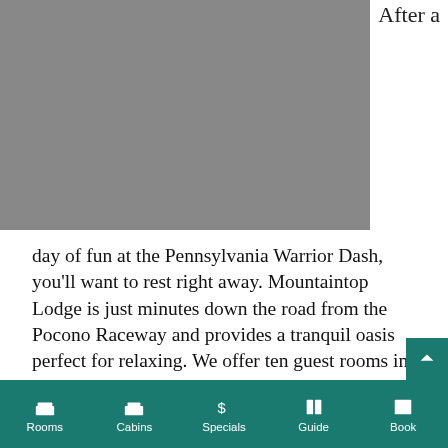After a
[Figure (photo): Gray/dark photograph, partially visible, appears to be an outdoor or event scene.]
day of fun at the Pennsylvania Warrior Dash, you’ll want to rest right away. Mountaintop Lodge is just minutes down the road from the Pocono Raceway and provides a tranquil oasis perfect for relaxing. We offer ten guest rooms in our lodge as well as four cabin suites set further back on our property.
In the morning, you’ll enjoy a delicious complimentary breakfast. If you’re looking for a pick-me-up outside of breakfast hours, you can head to our onsite Coffee and Pastry Shop to grab
Rooms | Cabins | Specials | Guide | Book